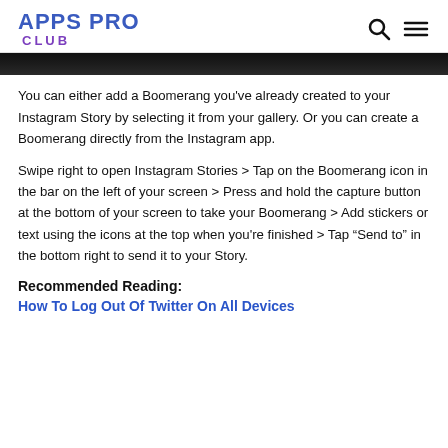APPS PRO CLUB
[Figure (photo): Partial image strip at top of page, dark/black photo crop]
You can either add a Boomerang you've already created to your Instagram Story by selecting it from your gallery. Or you can create a Boomerang directly from the Instagram app.
Swipe right to open Instagram Stories > Tap on the Boomerang icon in the bar on the left of your screen > Press and hold the capture button at the bottom of your screen to take your Boomerang > Add stickers or text using the icons at the top when you're finished > Tap “Send to” in the bottom right to send it to your Story.
Recommended Reading:
How To Log Out Of Twitter On All Devices